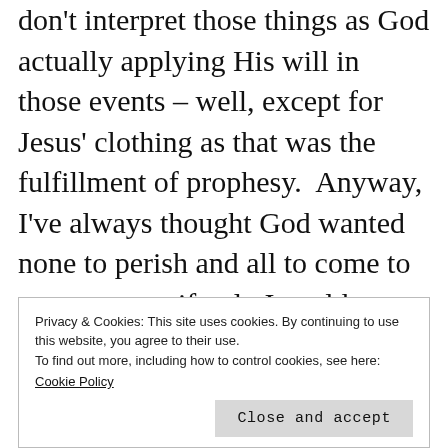don't interpret those things as God actually applying His will in those events – well, except for Jesus' clothing as that was the fulfillment of prophesy.  Anyway, I've always thought God wanted none to perish and all to come to repentance – if only I could actually find a verse to support that concept. Well, next
Privacy & Cookies: This site uses cookies. By continuing to use this website, you agree to their use.
To find out more, including how to control cookies, see here:
Cookie Policy
Close and accept
Sincerely,